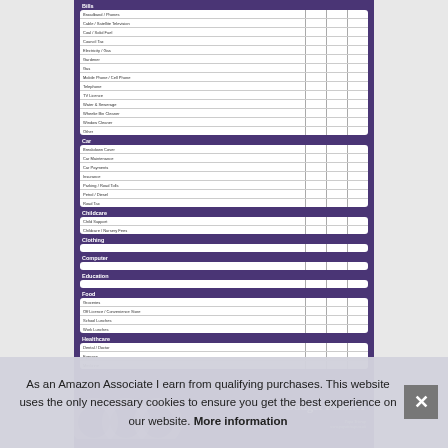[Figure (other): Budget Planner document with purple background showing expense categories: Bills (Broadband/Phones, Cable/Satellite/Television, Coal/Solid Fuel, Council Tax, Electricity/Gas, Gardener, Gas, Mobile Phone/Cell Phone, Telephone, TV Licence, Water & Sewerage, Window Bin Cleaner, Window Cleaner, Other), Car (Breakdown Cover, Car Maintenance, Car Payments, Insurance, Parking/Road Tolls, Petrol/Diesel, Road Tax), Childcare (Child Support, Childcare/Nursery Fees), Clothing, Computer, Education, Food (Groceries, Off Licence/Convenience Store, School Lunches, Work Lunches), Healthcare (Dental/Doctor, Eyecare, Medicine). Footer has circles decoration and Budget Planner title.]
As an Amazon Associate I earn from qualifying purchases. This website uses the only necessary cookies to ensure you get the best experience on our website. More information